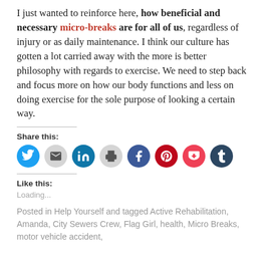I just wanted to reinforce here, how beneficial and necessary micro-breaks are for all of us, regardless of injury or as daily maintenance. I think our culture has gotten a lot carried away with the more is better philosophy with regards to exercise. We need to step back and focus more on how our body functions and less on doing exercise for the sole purpose of looking a certain way.
Share this:
[Figure (infographic): Row of social sharing icon circles: Twitter (blue), Email (light gray), LinkedIn (teal-blue), Print (light gray), Facebook (blue), Pinterest (dark red), Pocket (pink-red), Tumblr (dark navy)]
Like this:
Loading...
Posted in Help Yourself and tagged Active Rehabilitation, Amanda, City Sewers Crew, Flag Girl, health, Micro Breaks, motor vehicle accident,